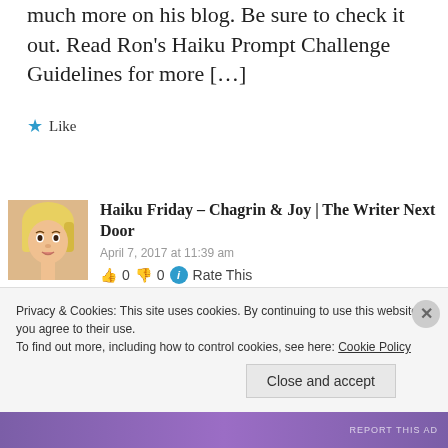much more on his blog. Be sure to check it out. Read Ron's Haiku Prompt Challenge Guidelines for more [...]
★ Like
Haiku Friday – Chagrin & Joy | The Writer Next Door
April 7, 2017 at 11:39 am
👍 0 👎 0 ℹ Rate This
[...] also does author interviews and
Privacy & Cookies: This site uses cookies. By continuing to use this website, you agree to their use. To find out more, including how to control cookies, see here: Cookie Policy
Close and accept